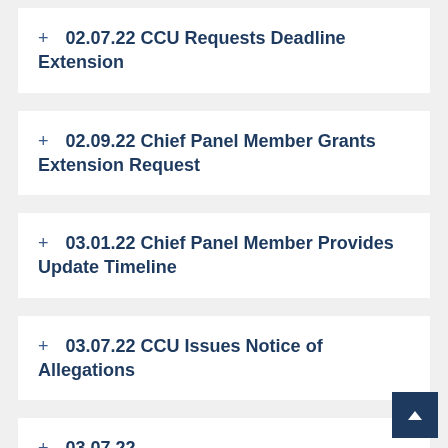+ 02.07.22 CCU Requests Deadline Extension
+ 02.09.22 Chief Panel Member Grants Extension Request
+ 03.01.22 Chief Panel Member Provides Update Timeline
+ 03.07.22 CCU Issues Notice of Allegations
+ 03.07.22 [partial, cut off]